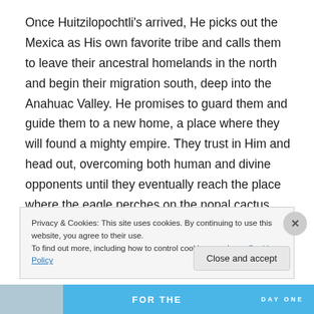Once Huitzilopochtli's arrived, He picks out the Mexica as His own favorite tribe and calls them to leave their ancestral homelands in the north and begin their migration south, deep into the Anahuac Valley. He promises to guard them and guide them to a new home, a place where they will found a mighty empire. They trust in Him and head out, overcoming both human and divine opponents until they eventually reach the place where the eagle perches on the nopal cactus, eating a heart — the sign that they have finally found their new home… Tenochtitlan.
Privacy & Cookies: This site uses cookies. By continuing to use this website, you agree to their use.
To find out more, including how to control cookies, see here: Cookie Policy
Close and accept